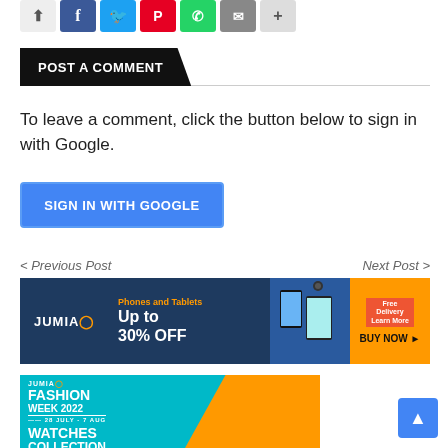[Figure (other): Social share buttons row: share icon, Facebook, Twitter, Pinterest, WhatsApp, Email, plus button]
POST A COMMENT
To leave a comment, click the button below to sign in with Google.
[Figure (other): Blue 'SIGN IN WITH GOOGLE' button]
< Previous Post
Next Post >
[Figure (infographic): Jumia banner: Phones and Tablets Up to 30% OFF with BUY NOW button and product images]
[Figure (infographic): Jumia Fashion Week 2022 banner - 28 July - 7 Aug - Watches Collection]